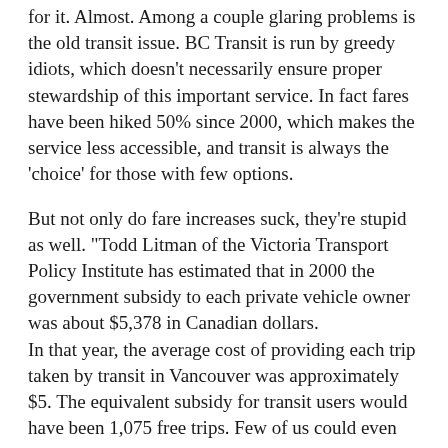for it. Almost. Among a couple glaring problems is the old transit issue. BC Transit is run by greedy idiots, which doesn't necessarily ensure proper stewardship of this important service. In fact fares have been hiked 50% since 2000, which makes the service less accessible, and transit is always the 'choice' for those with few options.
But not only do fare increases suck, they're stupid as well. "Todd Litman of the Victoria Transport Policy Institute has estimated that in 2000 the government subsidy to each private vehicle owner was about $5,378 in Canadian dollars. In that year, the average cost of providing each trip taken by transit in Vancouver was approximately $5. The equivalent subsidy for transit users would have been 1,075 free trips. Few of us could even use that many." (Tyee) Environmentally, economically and socially public